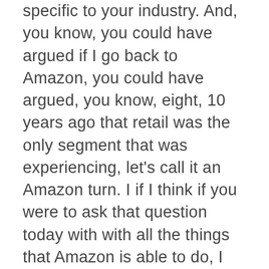specific to your industry. And, you know, you could have argued if I go back to Amazon, you could have argued, you know, eight, 10 years ago that retail was the only segment that was experiencing, let's call it an Amazon turn. I if I think if you were to ask that question today with with all the things that Amazon is able to do, I would argue that they are they are either forcing or had the potential to force other industries into their own set of turns. And the only reason I bring that up is what I'm hoping is that through our winning in the turns, research organizations